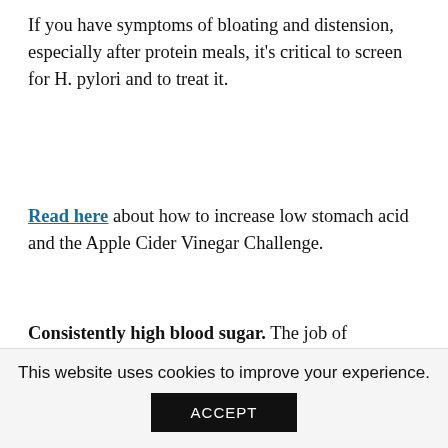If you have symptoms of bloating and distension, especially after protein meals, it's critical to screen for H. pylori and to treat it.
Read here about how to increase low stomach acid and the Apple Cider Vinegar Challenge.
Consistently high blood sugar. The job of constantly pumping out insulin to lower high blood sugar levels eventually exhausts the pancreas. This leads to low pancreatic enzymes and hormones.
Chronic gut inflammation. Digestive enzymes have an anti-inflammatory effect, so the pancreas will secrete them when it senses the gut is inflamed. If gut inflammation is chronic, the pancreas will tire out and be
This website uses cookies to improve your experience.
ACCEPT